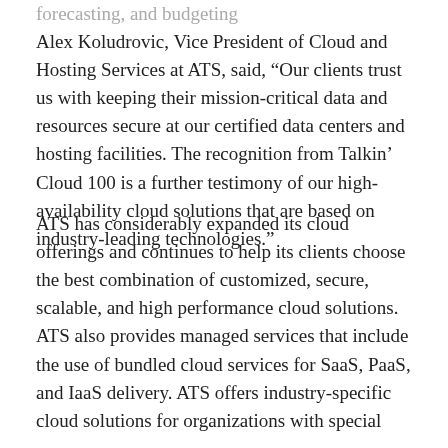forecasting, and budgeting
Alex Koludrovic, Vice President of Cloud and Hosting Services at ATS, said, “Our clients trust us with keeping their mission-critical data and resources secure at our certified data centers and hosting facilities. The recognition from Talkin’ Cloud 100 is a further testimony of our high-availability cloud solutions that are based on industry-leading technologies.”
ATS has considerably expanded its cloud offerings and continues to help its clients choose the best combination of customized, secure, scalable, and high performance cloud solutions. ATS also provides managed services that include the use of bundled cloud services for SaaS, PaaS, and IaaS delivery. ATS offers industry-specific cloud solutions for organizations with special